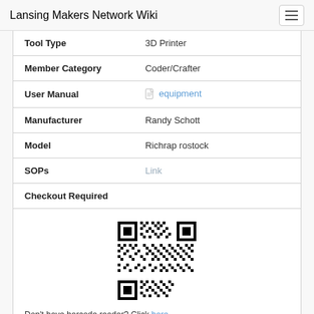Lansing Makers Network Wiki
| Tool Type | 3D Printer |
| Member Category | Coder/Crafter |
| User Manual | equipment |
| Manufacturer | Randy Schott |
| Model | Richrap rostock |
| SOPs | Link |
| Checkout Required |  |
[Figure (other): QR code for equipment page]
Don't have barcode reader? Click here.